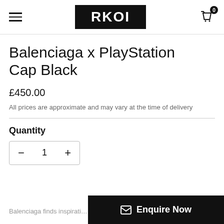RKOI
Balenciaga x PlayStation Cap Black
£450.00
All prices are approximate and may vary at the time of delivery
Quantity
1
Balenciaga finds inspiration from video
Enquire Now